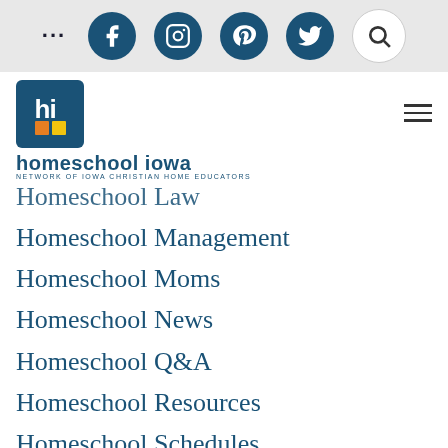[Figure (screenshot): Website header top bar with social media icons: dots menu, Facebook, Instagram, Pinterest, Twitter, and search button]
[Figure (logo): Homeschool Iowa logo - 'hi' in blue box with orange/yellow squares, text reading 'homeschool iowa' and 'NETWORK OF IOWA CHRISTIAN HOME EDUCATORS']
Homeschool Law
Homeschool Management
Homeschool Moms
Homeschool News
Homeschool Q&A
Homeschool Resources
Homeschool Schedules